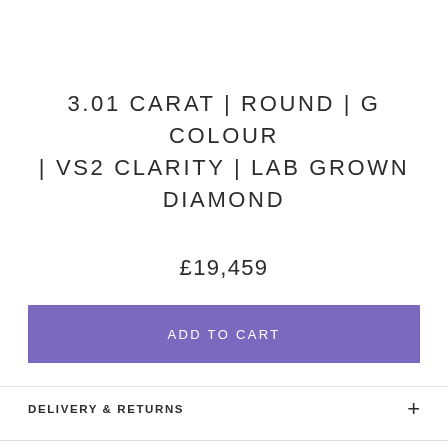3.01 CARAT | ROUND | G COLOUR | VS2 CLARITY | LAB GROWN DIAMOND
£19,459
ADD TO CART
DELIVERY & RETURNS